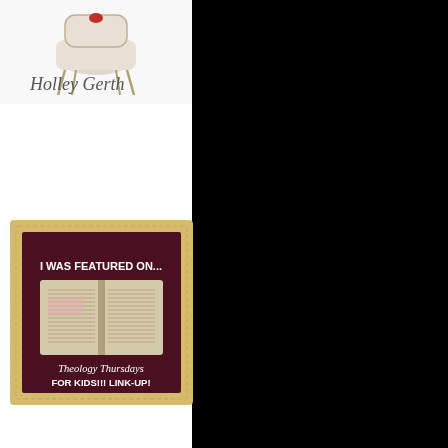[Figure (photo): Holley Gerth logo with ornate chair and cursive signature text]
I WAS FEATURED ON:
[Figure (photo): Featured badge showing an open Bible with text 'I WAS FEATURED ON... Theology Thursdays FOR KIDS!!! LINK-UP!']
I WAS FEATURED ON: